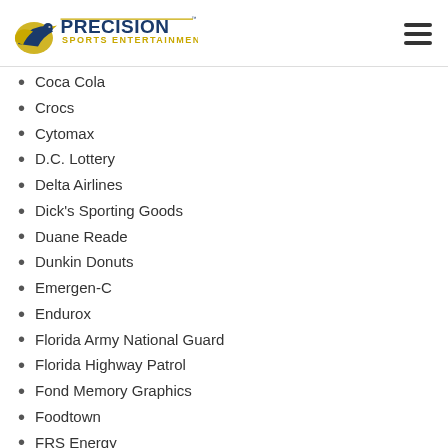[Figure (logo): Precision Sports Entertainment logo with blue and gold text and bird graphic]
Coca Cola
Crocs
Cytomax
D.C. Lottery
Delta Airlines
Dick's Sporting Goods
Duane Reade
Dunkin Donuts
Emergen-C
Endurox
Florida Army National Guard
Florida Highway Patrol
Fond Memory Graphics
Foodtown
FRS Energy
Gatorade
GEICO
General Nutrition Center
Goya
Hand & Stone